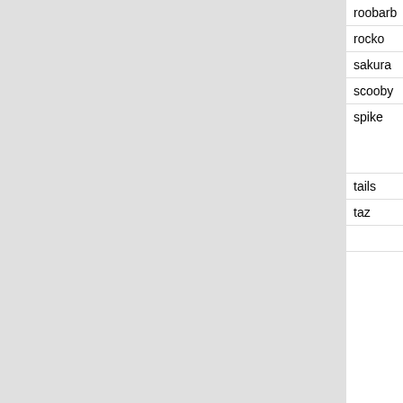|  |  |  |  |
| --- | --- | --- | --- |
| roobarb | Roobarb | ijabz | [15]🔗 |
| rocko | Rocko's Modern Life | bitmap |  |
| sakura | Cardcaptor Sakura | kepstin |  |
| scooby | Scooby-Doo | ruaok | Uh, duh. Scooby snacks! |
| spike | My Little Pony | warp | Spike is purple a green ba dragon. Twilight Sparkle' friend ar number assistan |
| tails | Sonic the Hedgehog | aCiD2 | [16]🔗 |
| taz | Looney Tunes | Elliot Davis |  |
|  |  |  | decided |